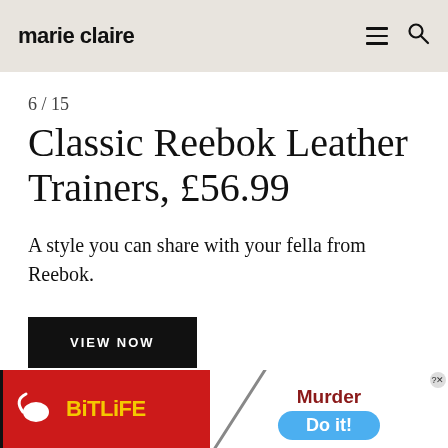marie claire
6 / 15
Classic Reebok Leather Trainers, £56.99
A style you can share with your fella from Reebok.
VIEW NOW
[Figure (screenshot): Advertisement banner showing BitLife app logo on red background (left) and Murder / Do it! call-to-action on white background (right) with close button]